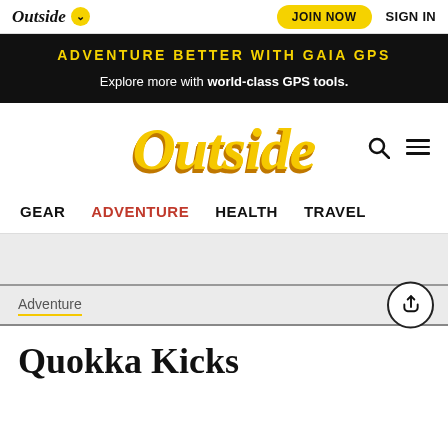Outside  JOIN NOW  SIGN IN
ADVENTURE BETTER WITH GAIA GPS
Explore more with world-class GPS tools.
[Figure (logo): Outside magazine logo in large italic golden yellow text with orange shadow]
GEAR   ADVENTURE   HEALTH   TRAVEL
Adventure
Quokka Kicks